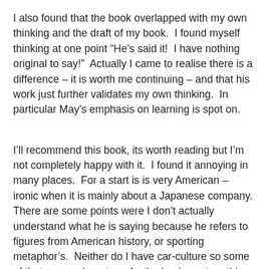I also found that the book overlapped with my own thinking and the draft of my book.  I found myself thinking at one point “He’s said it!  I have nothing original to say!”  Actually I came to realise there is a difference – it is worth me continuing – and that his work just further validates my own thinking.  In particular May’s emphasis on learning is spot on.
I’ll recommend this book, its worth reading but I’m not completely happy with it.  I found it annoying in many places.  For a start is is very American – ironic when it is mainly about a Japanese company.  There are some points were I don’t actually understand what he is saying because he refers to figures from American history, or sporting metaphor’s.  Neither do I have car-culture so some of that escaped me too.  As the book went on this annoyed me more and more, this is not a book for the international market.